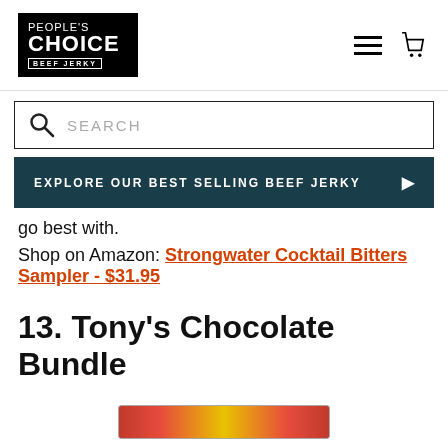PEOPLE'S CHOICE BEEF JERKY — navigation header with logo, hamburger menu, and cart icon
SEARCH
EXPLORE OUR BEST SELLING BEEF JERKY
go best with.
Shop on Amazon: Strongwater Cocktail Bitters Sampler - $31.95
13. Tony's Chocolate Bundle
[Figure (photo): Partial product image at bottom of page showing Tony's Chocolate Bundle packaging]